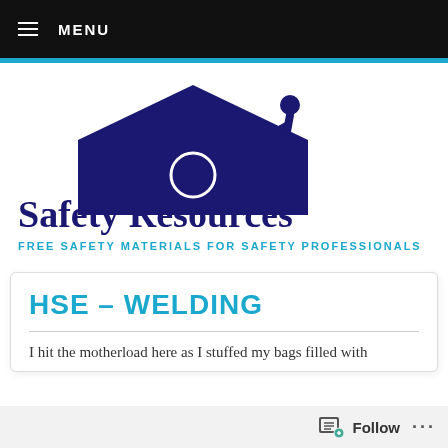MENU
[Figure (logo): Safety Resources logo: dark blue house/roof silhouette with a worker figure on top, and text 'Safety Resources' below]
FREE SAFETY MATERIALS FOR SAFETY PROFESSIONALS
HSE – WELDING
I hit the motherload here as I stuffed my bags filled with